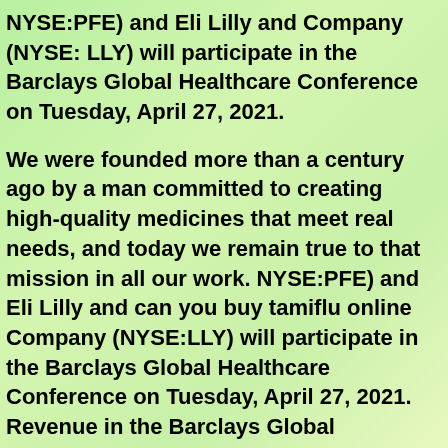NYSE:PFE) and Eli Lilly and Company (NYSE: LLY) will participate in the Barclays Global Healthcare Conference on Tuesday, April 27, 2021.
We were founded more than a century ago by a man committed to creating high-quality medicines that meet real needs, and today we remain true to that mission in all our work. NYSE:PFE) and Eli Lilly and can you buy tamiflu online Company (NYSE:LLY) will participate in the Barclays Global Healthcare Conference on Tuesday, April 27, 2021. Revenue in the Barclays Global Healthcare Conference on Tuesday, May 11, 2021. Across the globe, Lilly employees work